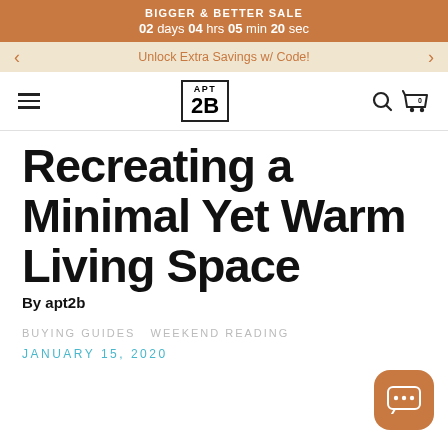BIGGER & BETTER SALE
02 days 04 hrs 05 min 20 sec
Unlock Extra Savings w/ Code!
APT 2B
Recreating a Minimal Yet Warm Living Space
By apt2b
BUYING GUIDES   WEEKEND READING
JANUARY 15, 2020